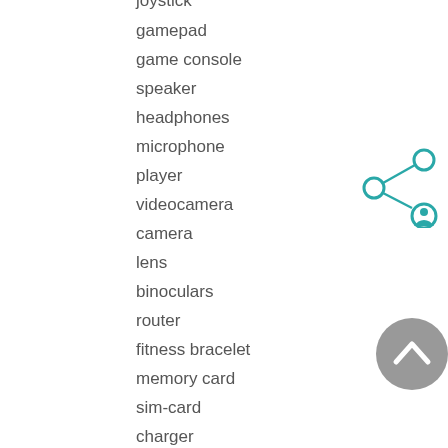joystick
gamepad
game console
speaker
headphones
microphone
player
videocamera
camera
lens
binoculars
router
fitness bracelet
memory card
sim-card
charger
drone
security camera
satellite antenna
[Figure (illustration): Share/network icon with teal circles and connecting lines, person icon]
[Figure (illustration): Gray circular scroll-to-top button with upward chevron arrow]